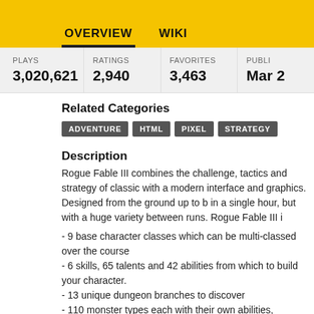OVERVIEW   WIKI
| PLAYS | RATINGS | FAVORITES | PUBLI... |
| --- | --- | --- | --- |
| 3,020,621 | 2,940 | 3,463 | Mar ... |
Related Categories
ADVENTURE
HTML
PIXEL
STRATEGY
Description
Rogue Fable III combines the challenge, tactics and strategy of classic with a modern interface and graphics. Designed from the ground up to be played in a single hour, but with a huge variety between runs. Rogue Fable III i
- 9 base character classes which can be multi-classed over the course
- 6 skills, 65 talents and 42 abilities from which to build your character.
- 13 unique dungeon branches to discover
- 110 monster types each with their own abilities, behaviors, strengths and weaknesses.
- 140 items to collect.
Rogue Fable III is now in active, continuous development on Steam Ea and will be receiving updates, improvements, and new content there. Th version is, nonetheless, a completed game in itself and will continue to